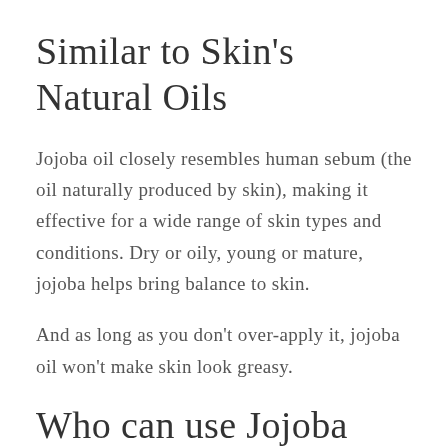Similar to Skin's Natural Oils
Jojoba oil closely resembles human sebum (the oil naturally produced by skin), making it effective for a wide range of skin types and conditions. Dry or oily, young or mature, jojoba helps bring balance to skin.
And as long as you don't over-apply it, jojoba oil won't make skin look greasy.
Who can use Jojoba Oil?